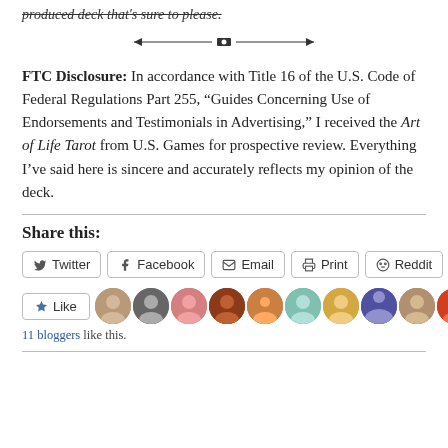produced deck that's sure to please.
[Figure (illustration): Decorative horizontal divider line with a small diamond/knot in the center and arrow-like ends]
FTC Disclosure: In accordance with Title 16 of the U.S. Code of Federal Regulations Part 255, “Guides Concerning Use of Endorsements and Testimonials in Advertising,” I received the Art of Life Tarot from U.S. Games for prospective review. Everything I’ve said here is sincere and accurately reflects my opinion of the deck.
Share this:
[Figure (screenshot): Row of social share buttons: Twitter, Facebook, Email, Print, Reddit]
[Figure (screenshot): Like button and row of 10 blogger avatar images. Text: 11 bloggers like this.]